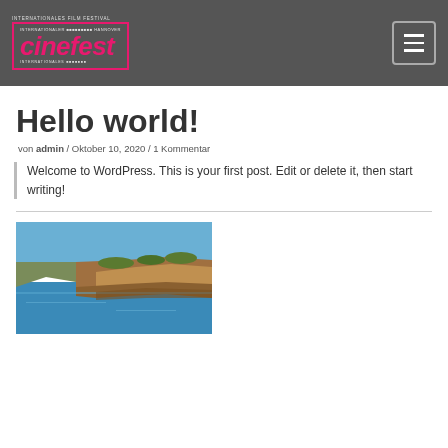Cinefest - International Film Festival
Hello world!
von admin / Oktober 10, 2020 / 1 Kommentar
Welcome to WordPress. This is your first post. Edit or delete it, then start writing!
[Figure (photo): Coastal cliffs with rocky shoreline and blue water, partially visible at bottom of page]